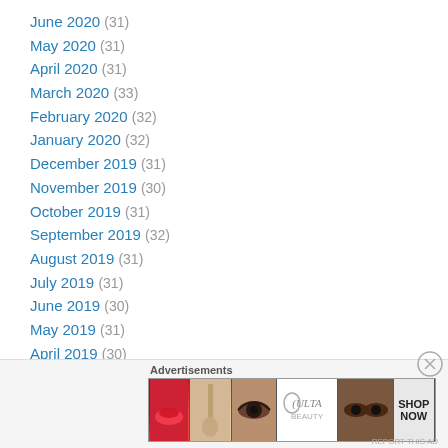June 2020 (31)
May 2020 (31)
April 2020 (31)
March 2020 (33)
February 2020 (32)
January 2020 (32)
December 2019 (31)
November 2019 (30)
October 2019 (31)
September 2019 (32)
August 2019 (31)
July 2019 (31)
June 2019 (30)
May 2019 (31)
April 2019 (30)
March 2019 (31)
Advertisements
[Figure (photo): Ulta Beauty advertisement banner showing makeup images (lips, brush, eye, Ulta logo, eyes) with SHOP NOW call to action]